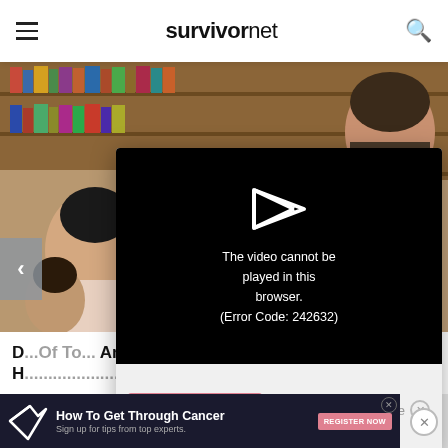survivornet
[Figure (screenshot): Video player overlay on survivornet website showing error message: The video cannot be played in this browser. (Error Code: 242632), with a WATCH NOW button and Close button]
How To Get Through Cancer - Sign up for tips from top experts. REGISTER NOW